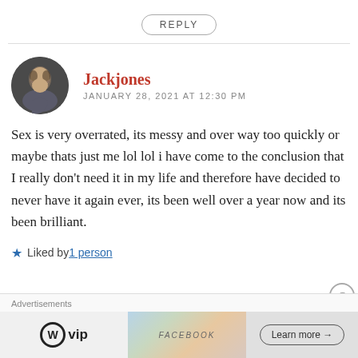REPLY
Jackjones
JANUARY 28, 2021 AT 12:30 PM
Sex is very overrated, its messy and over way too quickly or maybe thats just me lol lol i have come to the conclusion that I really don’t need it in my life and therefore have decided to never have it again ever, its been well over a year now and its been brilliant.
Liked by 1 person
Advertisements
[Figure (screenshot): Advertisement banner showing WordPress VIP logo on the left, a map-like graphic in the middle, and a Learn more button on the right]